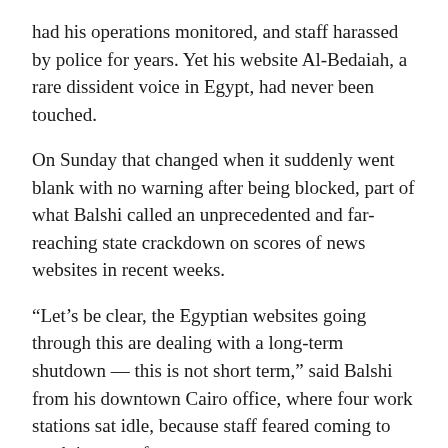had his operations monitored, and staff harassed by police for years. Yet his website Al-Bedaiah, a rare dissident voice in Egypt, had never been touched.
On Sunday that changed when it suddenly went blank with no warning after being blocked, part of what Balshi called an unprecedented and far-reaching state crackdown on scores of news websites in recent weeks.
“Let’s be clear, the Egyptian websites going through this are dealing with a long-term shutdown — this is not short term,” said Balshi from his downtown Cairo office, where four work stations sat idle, because staff feared coming to work in case of arrest.
Balshi’s website was the 57th blocked since May 24, according to the Association for Freedom of Thought and Expression, a non-government organization tracking the